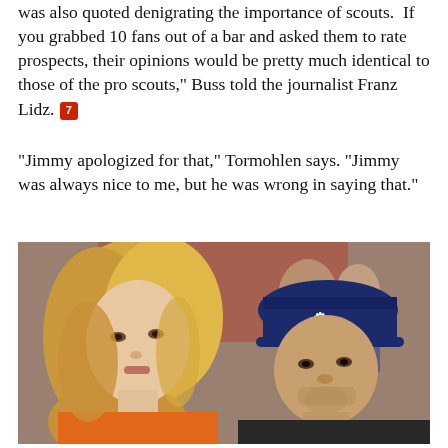was also quoted denigrating the importance of scouts. "If you grabbed 10 fans out of a bar and asked them to rate prospects, their opinions would be pretty much identical to those of the pro scouts," Buss told the journalist Franz Lidz. [7]
"Jimmy apologized for that," Tormohlen says. "Jimmy was always nice to me, but he was wrong in saying that."
[Figure (photo): A woman with long blonde hair wearing an orange top sits next to a man wearing a dark jacket and navy blue Under Armour baseball cap, with his hand raised to his chin in a thoughtful pose. Several people are visible in the background.]